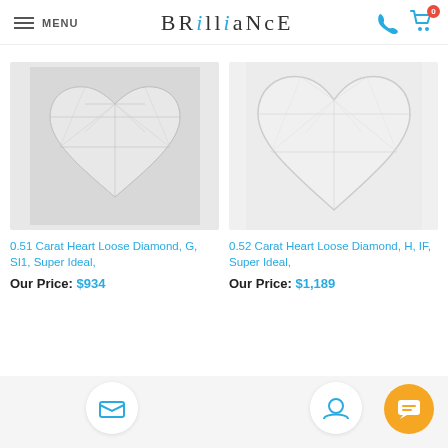MENU | BRILLIANCE | phone icon | cart icon (0)
[Figure (photo): Heart-shaped loose diamond, viewed from above against a light grey background]
0.51 Carat Heart Loose Diamond, G, SI1, Super Ideal,
Our Price: $934
[Figure (photo): Heart-shaped loose diamond, close-up view against a light grey background]
0.52 Carat Heart Loose Diamond, H, IF, Super Ideal,
Our Price: $1,189